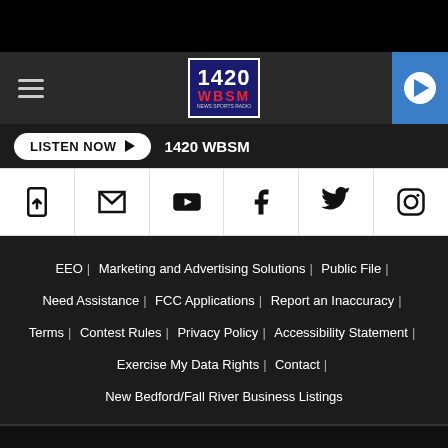[Figure (screenshot): 1420 WBSM radio station website footer screenshot showing navigation bar with logo, listen now bar, social media icons, footer links, and copyright]
© 2022 1420 WBSM, Townsquare Media, Inc. All rights reserved.